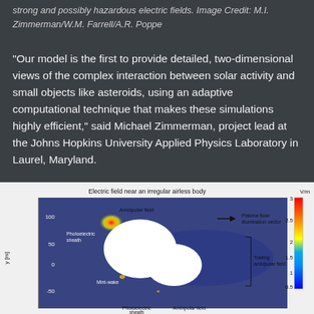strong and possibly hazardous electric fields. Image Credit: M.I. Zimmerman/W.M. Farrell/A.R. Poppe
“Our model is the first to provide detailed, two-dimensional views of the complex interaction between solar activity and small objects like asteroids, using an adaptive computational technique that makes these simulations highly efficient,” said Michael Zimmerman, project lead at the Johns Hopkins University Applied Physics Laboratory in Laurel, Maryland.
[Figure (other): Scientific diagram titled 'Electric field near an irregular airless body'. Shows a color-mapped simulation of electric field (V/m) around an irregular airless body (asteroid-like shape). Labels include: Ambipolar field, Photoelectric sheath, Mini-wake, Trailing ambipolar field, Plasma flow/illumination vector arrow. Y-axis labeled 'y [m]' with values -50, 0, 50, 100. Color scale bar on right from 0 to 3 V/m (blue to red).]